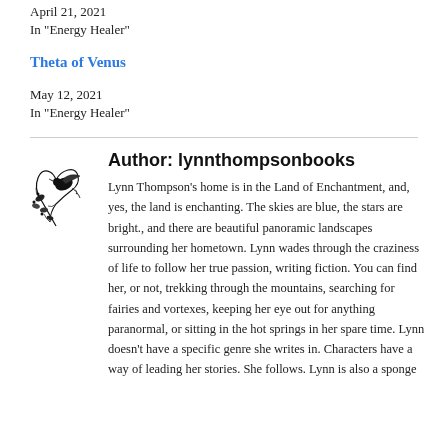April 21, 2021
In "Energy Healer"
Theta of Venus
May 12, 2021
In "Energy Healer"
[Figure (illustration): Decorative bird/floral illustration used as author avatar]
Author: lynnthompsonbooks
Lynn Thompson's home is in the Land of Enchantment, and, yes, the land is enchanting. The skies are blue, the stars are bright., and there are beautiful panoramic landscapes surrounding her hometown. Lynn wades through the craziness of life to follow her true passion, writing fiction. You can find her, or not, trekking through the mountains, searching for fairies and vortexes, keeping her eye out for anything paranormal, or sitting in the hot springs in her spare time. Lynn doesn't have a specific genre she writes in. Characters have a way of leading her stories. She follows. Lynn is also a sponge